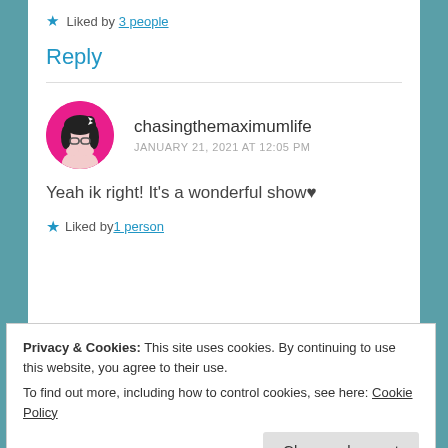★ Liked by 3 people
Reply
chasingthemaximumlife
JANUARY 21, 2021 AT 12:05 PM
Yeah ik right! It's a wonderful show♥
★ Liked by 1 person
Privacy & Cookies: This site uses cookies. By continuing to use this website, you agree to their use.
To find out more, including how to control cookies, see here: Cookie Policy